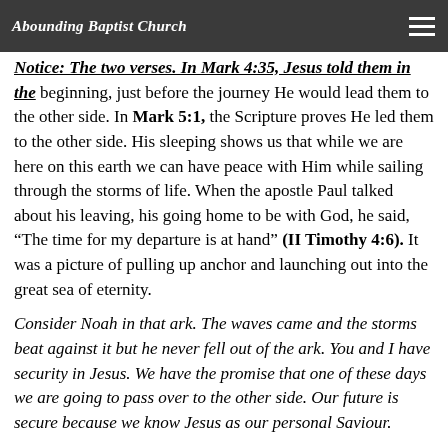Abounding Baptist Church
Notice: The two verses. In Mark 4:35, Jesus told them in the beginning, just before the journey He would lead them to the other side. In Mark 5:1, the Scripture proves He led them to the other side. His sleeping shows us that while we are here on this earth we can have peace with Him while sailing through the storms of life. When the apostle Paul talked about his leaving, his going home to be with God, he said, “The time for my departure is at hand” (II Timothy 4:6). It was a picture of pulling up anchor and launching out into the great sea of eternity.
Consider Noah in that ark. The waves came and the storms beat against it but he never fell out of the ark. You and I have security in Jesus. We have the promise that one of these days we are going to pass over to the other side. Our future is secure because we know Jesus as our personal Saviour.